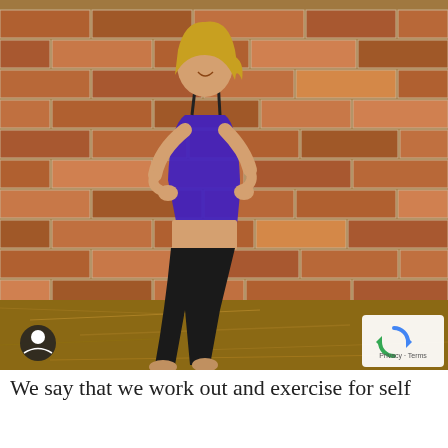[Figure (photo): A smiling blonde woman in athletic wear (blue crop top, black capri leggings, barefoot) posing against a brick wall with dried grass/mulch on the ground. She is laughing and holding her top. A reCAPTCHA badge is overlaid in the bottom-right corner, and a dark user-icon circle is in the bottom-left.]
We say that we work out and exercise for self